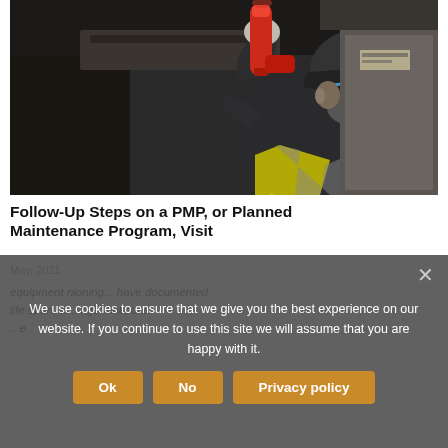[Figure (photo): A worker wearing a cap, safety glasses, and high-visibility vest uses a red spray can on equipment, possibly lubricating or treating a surface underneath a dark structure. One hand holds the spray can upward, the other steadies machinery.]
Follow-Up Steps on a PMP, or Planned Maintenance Program, Visit
May, 2021
equipment nearing. have documented life span, ai... ings that con...
We use cookies to ensure that we give you the best experience on our website. If you continue to use this site we will assume that you are happy with it.